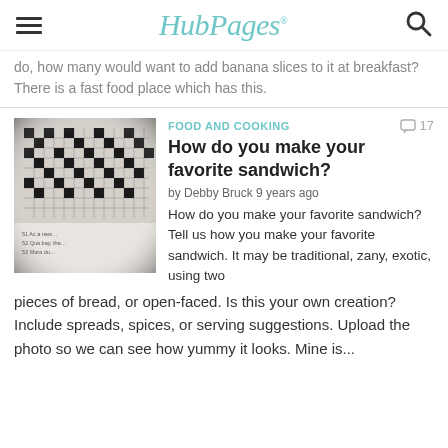HubPages
do, how many would want to add banana slices to it at breakfast? There is a fast food place which has this.
[Figure (photo): Close-up black and white photo of a crossword puzzle book open to a page showing the grid and clues]
FOOD AND COOKING
17
How do you make your favorite sandwich?
by Debby Bruck 9 years ago
How do you make your favorite sandwich?Tell us how you make your favorite sandwich. It may be traditional, zany, exotic, using two pieces of bread, or open-faced. Is this your own creation? Include spreads, spices, or serving suggestions. Upload the photo so we can see how yummy it looks. Mine is...